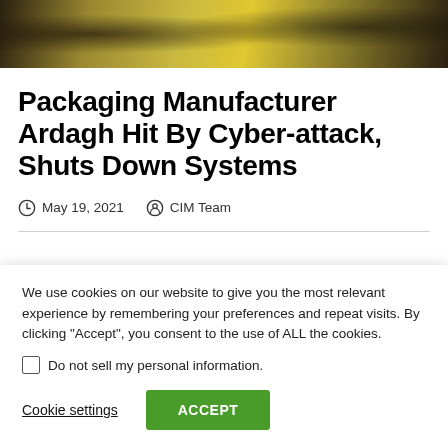[Figure (photo): Photo showing warehouse or industrial setting with yellow machinery/forklifts and workers in dark clothing]
Packaging Manufacturer Ardagh Hit By Cyber-attack, Shuts Down Systems
May 19, 2021  CIM Team
We use cookies on our website to give you the most relevant experience by remembering your preferences and repeat visits. By clicking “Accept”, you consent to the use of ALL the cookies.
Do not sell my personal information.
Cookie settings  ACCEPT